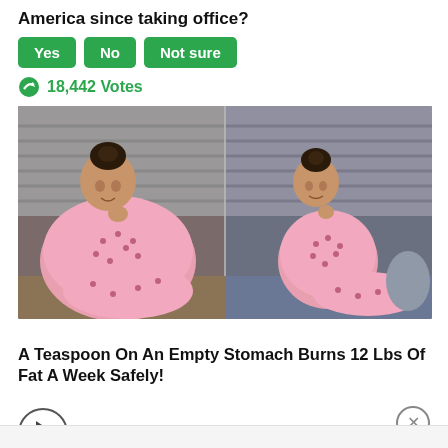America since taking office?
Yes
No
Not sure
18,442 Votes
[Figure (photo): Before and after weight loss photo of a woman in pink dotted pajamas sitting on a couch. Left side shows heavier figure, right side shows slimmer figure.]
A Teaspoon On An Empty Stomach Burns 12 Lbs Of Fat A Week Safely!
5